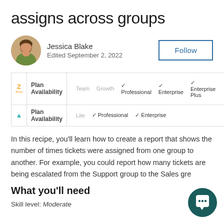assigns across groups
Jessica Blake
Edited September 2, 2022
|  | Plan Availability | Team | Growth | Professional | Enterprise | Enterprise Plus |
| --- | --- | --- | --- | --- | --- | --- |
| Z Arss logo | Plan Availability | Team | Growth | ✓ Professional | ✓ Enterprise | ✓ Enterprise Plus |
| Triangle logo | Plan Availability | Lite |  | ✓ Professional | ✓ Enterprise |  |
In this recipe, you'll learn how to create a report that shows the number of times tickets were assigned from one group to another. For example, you could report how many tickets are being escalated from the Support group to the Sales gre
What you'll need
Skill level: Moderate